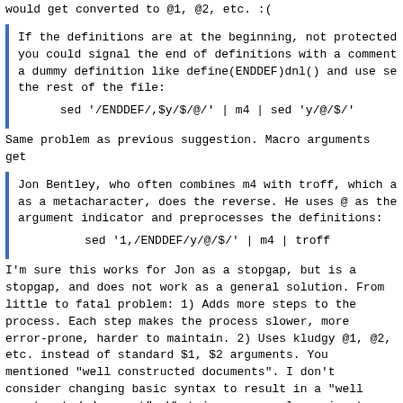would get converted to @1, @2, etc. :(
If the definitions are at the beginning, not protected you could signal the end of definitions with a comment a dummy definition like define(ENDDEF)dnl() and use se the rest of the file:
sed '/ENDDEF/,$y/$/@/' | m4 | sed 'y/@/$/'
Same problem as previous suggestion. Macro arguments get
Jon Bentley, who often combines m4 with troff, which a as a metacharacter, does the reverse. He uses @ as the argument indicator and preprocesses the definitions:
sed '1,/ENDDEF/y/@/$/' | m4 | troff
I'm sure this works for Jon as a stopgap, but is a stopgap, and does not work as a general solution. From little to fatal problem: 1) Adds more steps to the process. Each step makes the process slower, more error-prone, harder to maintain. 2) Uses kludgy @1, @2, etc. instead of standard $1, $2 arguments. You mentioned "well constructed documents". I don't consider changing basic syntax to result in a "well constructed document". What is someone else going to think when they see non-standard, kludgy usage? How